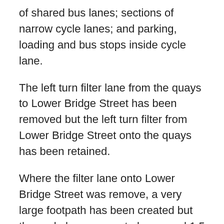of shared bus lanes; sections of narrow cycle lanes; and parking, loading and bus stops inside cycle lane.
The left turn filter lane from the quays to Lower Bridge Street has been removed but the left turn filter from Lower Bridge Street onto the quays has been retained.
Where the filter lane onto Lower Bridge Street was remove, a very large footpath has been created but the cycle lane seems to be around 1.5 metres, which is below 1.75 metre minimum width outlined in the National Cycle Manual. On the other side of the junction, outside the post office on Usher's Quay, a section of the cycle lane drops to just around 1 metre.